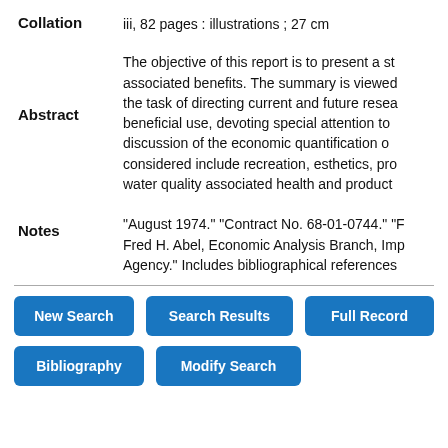Collation
iii, 82 pages : illustrations ; 27 cm
Abstract
The objective of this report is to present a st associated benefits. The summary is viewed the task of directing current and future resea beneficial use, devoting special attention to discussion of the economic quantification o considered include recreation, esthetics, pr water quality associated health and produc
Notes
"August 1974." "Contract No. 68-01-0744." " Fred H. Abel, Economic Analysis Branch, Im Agency." Includes bibliographical references